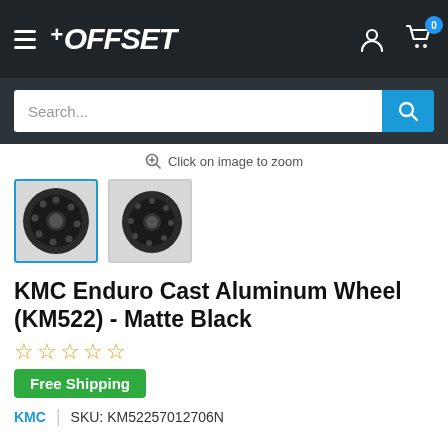1OFFSET — navigation bar with hamburger menu, logo, user icon, cart icon (0 items)
Search...
Click on image to zoom
[Figure (photo): Two thumbnail images of KMC Enduro Cast Aluminum Wheel (KM522) in Matte Black. First thumbnail is selected with a blue border, showing front-on view. Second thumbnail shows a slight angle view.]
KMC Enduro Cast Aluminum Wheel (KM522) - Matte Black
★★★★★ (star rating, empty stars, yellow outline)
Free Shipping
KMC  |  SKU: KM52257012706N